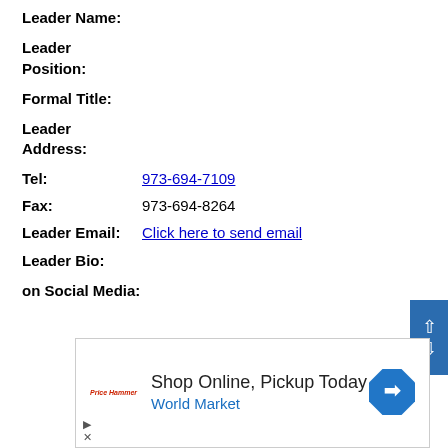Leader Name:
Leader Position:
Formal Title:
Leader Address:
Tel: 973-694-7109
Fax: 973-694-8264
Leader Email: Click here to send email
Leader Bio:
on Social Media:
[Figure (other): Advertisement banner: Shop Online, Pickup Today - World Market with logo and direction arrow icon]